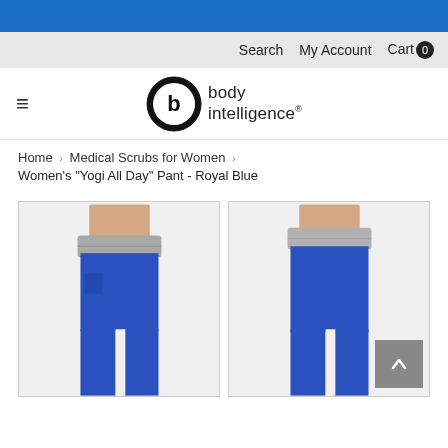Search   My Account   Cart 0
[Figure (logo): Body Intelligence logo: black circle with 'b' inside, followed by 'body intelligence' text]
Home › Medical Scrubs for Women › Women's "Yogi All Day" Pant - Royal Blue
[Figure (photo): Front view of woman wearing royal blue yoga-style scrub pants with grey fold-over waistband, shown from waist down]
[Figure (photo): Back/side view of royal blue yoga-style scrub pants with grey fold-over waistband, shown from waist down]